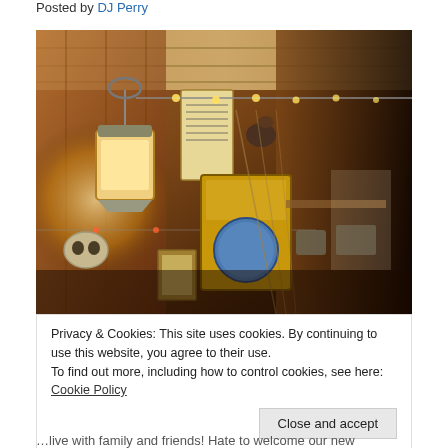Posted by DJ Perry
[Figure (photo): Interior of a rustic wooden shed or cabin decorated with antique lanterns, string lights, old signs including a nautical/pirate themed hanging sign, decorative skull, netting, and various vintage items. Warm amber lighting from hanging bulb lights.]
Privacy & Cookies: This site uses cookies. By continuing to use this website, you agree to their use.
To find out more, including how to control cookies, see here: Cookie Policy
Close and accept
…live with family and friends! Hate to welcome our new